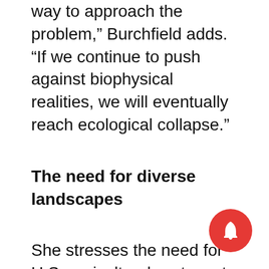way to approach the problem,” Burchfield adds. “If we continue to push against biophysical realities, we will eventually reach ecological collapse.”
The need for diverse landscapes
She stresses the need for U.S. agricultural systems to diversify beyond the major commodity crops, most of which are processed into animal feed.
“One of the basic laws of ecology is that more diverse ecosystems are more resilient,” Burchfield says. “A landscape covered with a single plant is a fragile, brittle landscape. And there is also growing evidence that more diverse agricultural